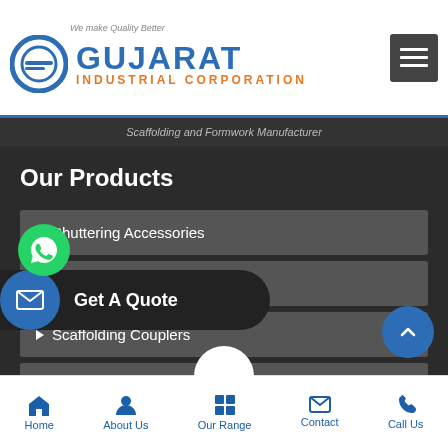[Figure (logo): Gujarat Industrial Corporation logo with blue oval G icon and company name in blue/orange text]
Scaffolding and Formwork Manufacturer
Our Products
Shuttering Accessories
Shuttering Material
Scaffolding Couplers
Scaffolding Tower
Get A Quote
Home   About Us   Our Range   Contact   Call Us